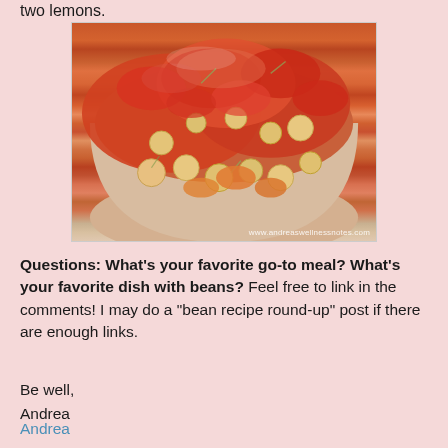two lemons.
[Figure (photo): A bowl of bean and tomato stew with chickpeas and vegetables, topped with red tomato sauce. Watermark reads www.andreaswellnessnotes.com]
Questions: What’s your favorite go-to meal? What’s your favorite dish with beans? Feel free to link in the comments! I may do a “bean recipe round-up” post if there are enough links.
Be well,
Andrea
Andrea